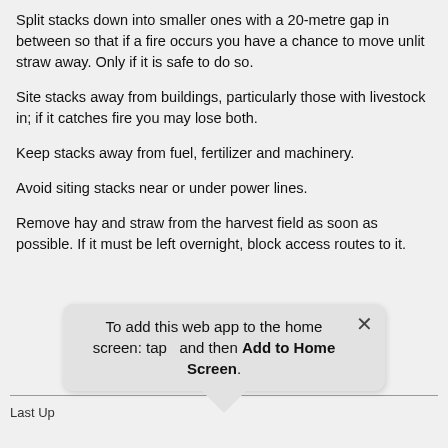Split stacks down into smaller ones with a 20-metre gap in between so that if a fire occurs you have a chance to move unlit straw away. Only if it is safe to do so.
Site stacks away from buildings, particularly those with livestock in; if it catches fire you may lose both.
Keep stacks away from fuel, fertilizer and machinery.
Avoid siting stacks near or under power lines.
Remove hay and straw from the harvest field as soon as possible. If it must be left overnight, block access routes to it.
[Figure (screenshot): Mobile web app 'Add to Home Screen' toast popup with close button and downward arrow, text: 'To add this web app to the home screen: tap and then Add to Home Screen.']
Last Up...